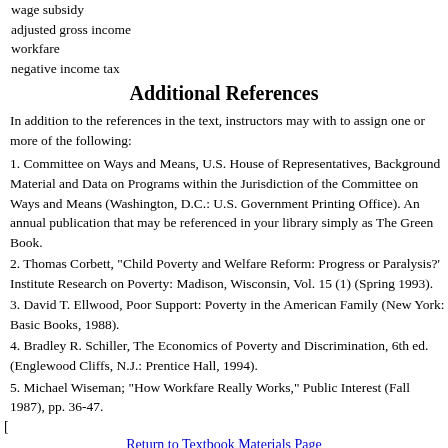wage subsidy
adjusted gross income
workfare
negative income tax
Additional References
In addition to the references in the text, instructors may with to assign one or more of the following:
1. Committee on Ways and Means, U.S. House of Representatives, Background Material and Data on Programs within the Jurisdiction of the Committee on Ways and Means (Washington, D.C.: U.S. Government Printing Office). An annual publication that may be referenced in your library simply as The Green Book.
2. Thomas Corbett, "Child Poverty and Welfare Reform: Progress or Paralysis?' Institute Research on Poverty: Madison, Wisconsin, Vol. 15 (1) (Spring 1993).
3. David T. Ellwood, Poor Support: Poverty in the American Family (New York: Basic Books, 1988).
4. Bradley R. Schiller, The Economics of Poverty and Discrimination, 6th ed. (Englewood Cliffs, N.J.: Prentice Hall, 1994).
5. Michael Wiseman; "How Workfare Really Works," Public Interest (Fall 1987), pp. 36-47.
[
Return to Textbook Materials Page